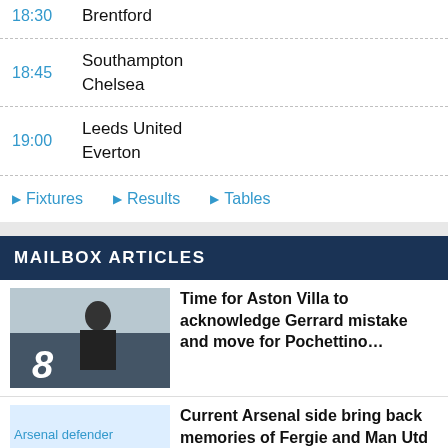18:30 Brentford
18:45 Southampton Chelsea
19:00 Leeds United Everton
▶ Fixtures  ▶ Results  ▶ Tables
MAILBOX ARTICLES
Time for Aston Villa to acknowledge Gerrard mistake and move for Pochettino…
Current Arsenal side bring back memories of Fergie and Man Utd